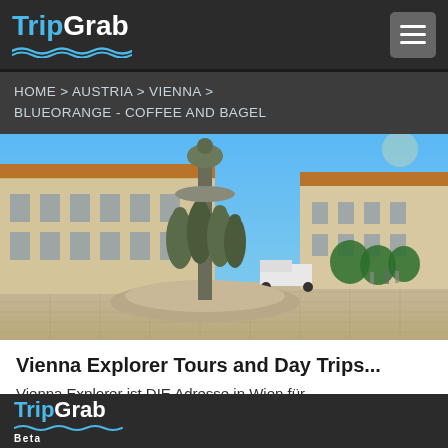TripGrab
HOME > AUSTRIA > VIENNA > BLUEORANGE - COFFEE AND BAGEL
[Figure (photo): Fountain with bronze statues in a Vienna city square, baroque buildings in background, clear blue sky]
Vienna Explorer Tours and Day Trips...
Vienna Explorer ist DIE Adresse in Wien für
TripGrab Beta